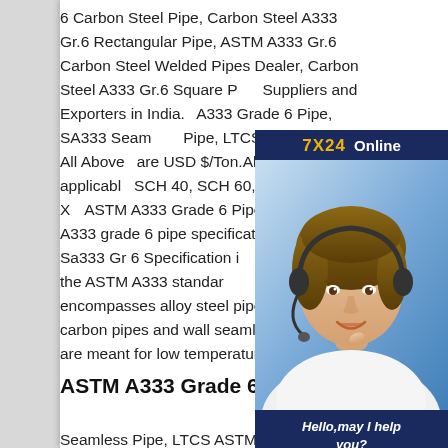6 Carbon Steel Pipe, Carbon Steel A333 Gr.6 Rectangular Pipe, ASTM A333 Gr.6 Carbon Steel Welded Pipes Dealer, Carbon Steel A333 Gr.6 Square Pipe Suppliers and Exporters in India. A333 Grade 6 Pipe, SA333 Seamless Pipe, LTCS Please note All Above are USD $/Ton.All price applicable SCH 40, SCH 60, SCH 80 SCH X ASTM A333 Grade 6 Pipe Specification A333 grade 6 pipe specification a ASME Sa333 Gr 6 Specification is part of the ASTM A333 standard encompasses alloy steel pipes, welded carbon pipes and wall seamless pipes that are meant for low temperature usage.
[Figure (other): Customer service chat widget with a woman wearing a headset, '7X24 Online' header in yellow and white on dark blue background, 'Hello, may I help you?' text and 'Get Latest Price' yellow button]
ASTM A333 Grade 6 Pipe, SA333
Seamless Pipe, LTCS ASTM a333